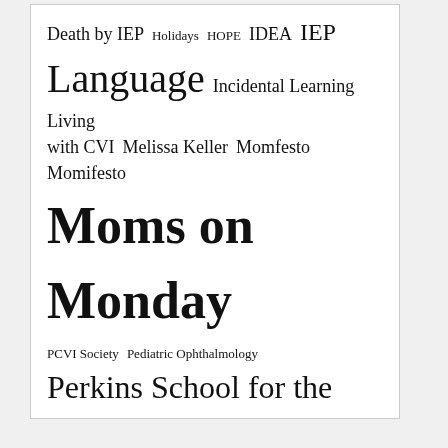Death by IEP  Holidays  HOPE  IDEA  IEP  Language  Incidental Learning  Living with CVI  Melissa Keller  Momfesto  Momifesto  Moms on Monday  PCVI Society  Pediatric Ophthalmology  Perkins School for the Blind  random mom stories  Sharon Lehman  Teambuilding  Training  Uncategorized  When 5th graders rule the world